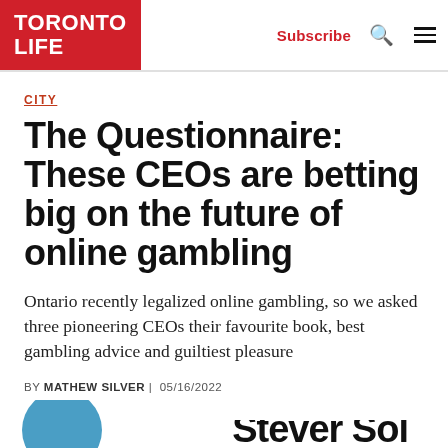TORONTO LIFE | Subscribe
CITY
The Questionnaire: These CEOs are betting big on the future of online gambling
Ontario recently legalized online gambling, so we asked three pioneering CEOs their favourite book, best gambling advice and guiltiest pleasure
BY MATHEW SILVER | 05/16/2022